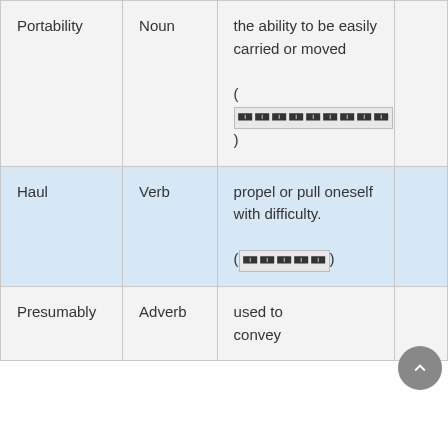| Word | Part of Speech | Definition |  |
| --- | --- | --- | --- |
| Portability | Noun | the ability to be easily carried or moved
(🀱🀱🀱🀱🀱🀱🀱🀱🀱) |  |
| Haul | Verb | propel or pull oneself with difficulty.
(🀱🀱🀱🀱🀱) |  |
| Presumably | Adverb | used to convey... |  |